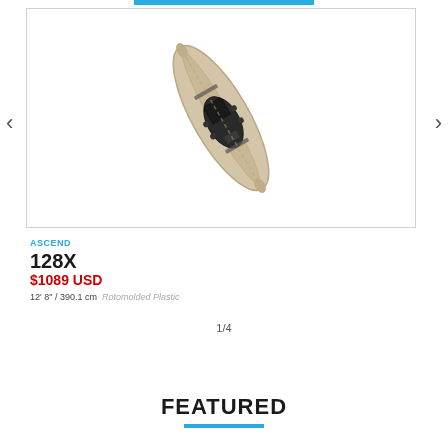[Figure (photo): Top-down view of a tan/beige kayak (Ascend 128X) with black seat and accessories, shown diagonally]
ASCEND
128X
$1089 USD
12' 8" / 390.1 cm  Rotomolded Plastic
1/4
FEATURED